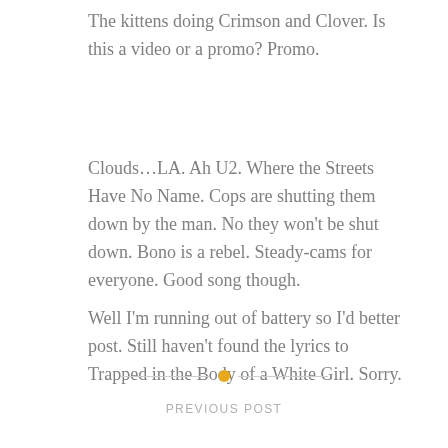The kittens doing Crimson and Clover. Is this a video or a promo? Promo.
Clouds…LA. Ah U2. Where the Streets Have No Name. Cops are shutting them down by the man. No they won't be shut down. Bono is a rebel. Steady-cams for everyone. Good song though.
Well I'm running out of battery so I'd better post. Still haven't found the lyrics to Trapped in the Body of a White Girl. Sorry.
PREVIOUS POST